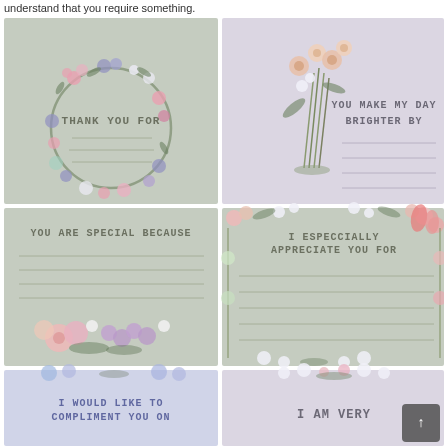understand that you require something.
[Figure (illustration): Grid of floral appreciation card templates: 'THANK YOU FOR' with floral wreath, 'YOU MAKE MY DAY BRIGHTER BY' with flower bouquet, 'YOU ARE SPECIAL BECAUSE' with floral border, 'I ESPECIALLY APPRECIATE YOU FOR' with floral frame, 'I WOULD LIKE TO COMPLIMENT YOU ON' partially visible, 'I AM VERY' partially visible. All cards have lined spaces for writing.]